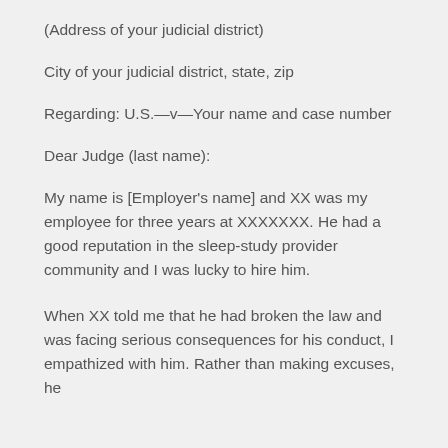(Address of your judicial district)
City of your judicial district, state, zip
Regarding: U.S.—v—Your name and case number
Dear Judge (last name):
My name is [Employer's name] and XX was my employee for three years at XXXXXXX. He had a good reputation in the sleep-study provider community and I was lucky to hire him.
When XX told me that he had broken the law and was facing serious consequences for his conduct, I empathized with him. Rather than making excuses, he